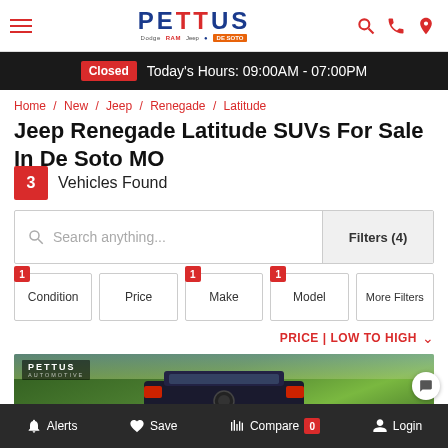Pettus Automotive — De Soto dealership header with logo, hamburger menu, search, phone, and location icons
Closed  Today's Hours: 09:00AM - 07:00PM
Home / New / Jeep / Renegade / Latitude
Jeep Renegade Latitude SUVs For Sale In De Soto MO
3 Vehicles Found
Search anything...  Filters (4)
Condition | Price | Make | Model | More Filters
PRICE | LOW TO HIGH
[Figure (photo): Jeep Renegade SUV rear/side view photographed outdoors with trees in background, Pettus Automotive dealership watermark overlay]
Alerts  Save  Compare 0  Login